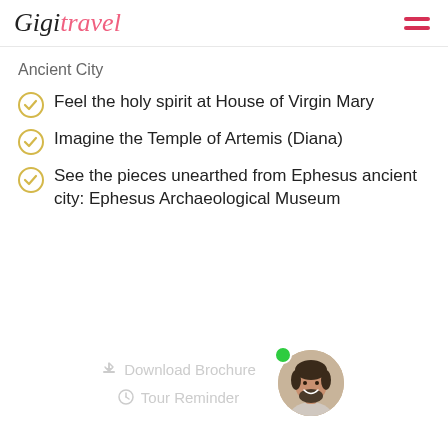Gigil Travel
Ancient City
Feel the holy spirit at House of Virgin Mary
Imagine the Temple of Artemis (Diana)
See the pieces unearthed from Ephesus ancient city: Ephesus Archaeological Museum
Download Brochure
Tour Reminder
[Figure (photo): Circular avatar photo of a smiling man with beard, with a green online indicator dot]